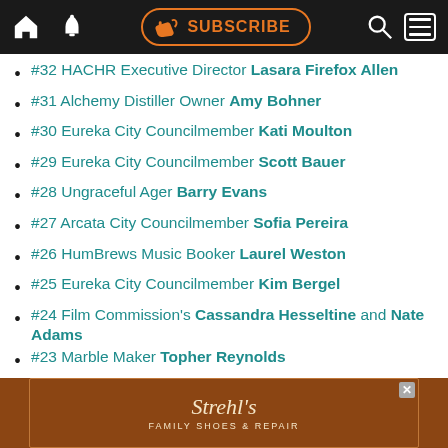SUBSCRIBE nav bar
#32 HACHR Executive Director Lasara Firefox Allen
#31 Alchemy Distiller Owner Amy Bohner
#30 Eureka City Councilmember Kati Moulton
#29 Eureka City Councilmember Scott Bauer
#28 Ungraceful Ager Barry Evans
#27 Arcata City Councilmember Sofia Pereira
#26 HumBrews Music Booker Laurel Weston
#25 Eureka City Councilmember Kim Bergel
#24 Film Commission's Cassandra Hesseltine and Nate Adams
#23 Marble Maker Topher Reynolds
#22 Arcata Playhouse Director Jacqueline Dandeneau
[Figure (illustration): Strehl's Family Shoes & Repair advertisement banner]